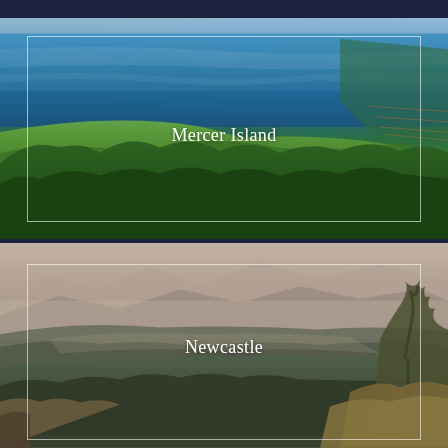[Figure (photo): Aerial view of Mercer Island showing a lake with blue water, green shores, docks along the right side, trees and vegetation in the foreground, and mountains in the background. A white border box overlays the image with the location name.]
[Figure (photo): Panoramic landscape view of Newcastle showing misty mountains in the background, a forested valley, hazy atmospheric view of city lights, and warm-toned foreground vegetation with a tree silhouette on the right. A white border box overlays the image with the location name.]